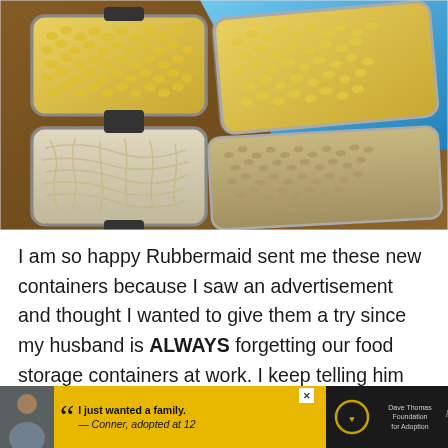[Figure (photo): Overhead photo of food storage containers with corn kernels and noodles/grains in metal and glass containers on a wooden surface, with a blue background on the upper right]
I am so happy Rubbermaid sent me these new containers because I saw an advertisement and thought I wanted to give them a try since my husband is ALWAYS forgetting our food storage containers at work. I keep telling him we need
[Figure (photo): Advertisement banner at the bottom: dark background with a photo of a young man, yellow section with quote 'I just wanted a family. — Conner, adopted at 12', Dave Thomas Foundation for Adoption logo, and partially visible brand logo]